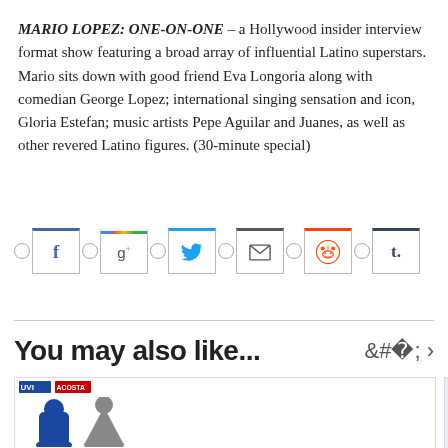MARIO LOPEZ: ONE-ON-ONE – a Hollywood insider interview format show featuring a broad array of influential Latino superstars. Mario sits down with good friend Eva Longoria along with comedian George Lopez; international singing sensation and icon, Gloria Estefan; music artists Pepe Aguilar and Juanes, as well as other revered Latino figures. (30-minute special)
[Figure (other): Social share buttons row: circle icon, Facebook (f), circle, Google+ (g+), circle, Twitter bird, circle, Email (envelope), circle, Reddit alien, circle, Tumblr (t.)]
You may also like...
[Figure (other): Three thumbnail images in a row: first shows Univision and Acosta logos with illustrated figures, second shows a cloud graphic with 38% badge, third shows a document/text graphic with $360 label]